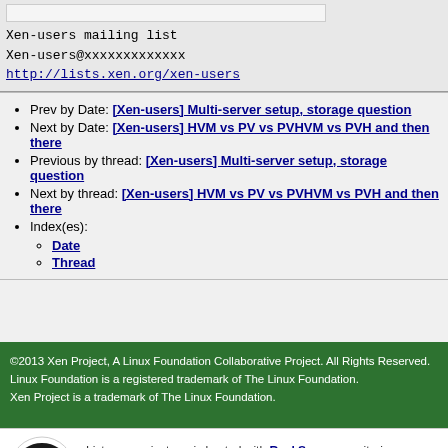Xen-users mailing list
Xen-users@xxxxxxxxxxxxx
http://lists.xen.org/xen-users
Prev by Date: [Xen-users] Multi-server setup, storage question
Next by Date: [Xen-users] HVM vs PV vs PVHVM vs PVH and then there
Previous by thread: [Xen-users] Multi-server setup, storage question
Next by thread: [Xen-users] HVM vs PV vs PVHVM vs PVH and then there
Index(es): Date, Thread
©2013 Xen Project, A Linux Foundation Collaborative Project. All Rights Reserved. Linux Foundation is a registered trademark of The Linux Foundation. Xen Project is a trademark of The Linux Foundation.
Lists.xenproject.org is hosted with RackSpace, monitoring our servers 24x7x365 and backed by RackSpace's Fanatical Support®.